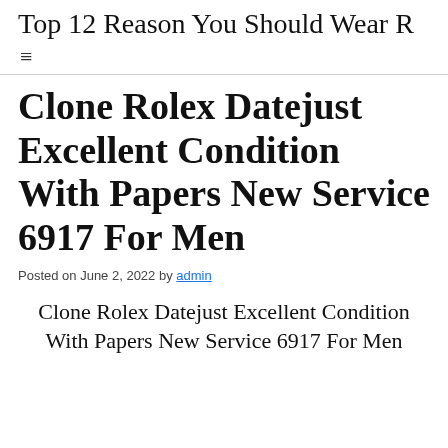Top 12 Reason You Should Wear R
Clone Rolex Datejust Excellent Condition With Papers New Service 6917 For Men
Posted on June 2, 2022 by admin
Clone Rolex Datejust Excellent Condition With Papers New Service 6917 For Men